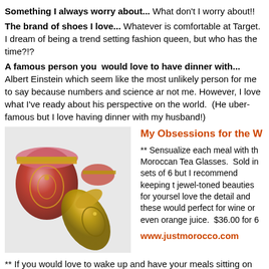Something I always worry about... What don't I worry about!!
The brand of shoes I love... Whatever is comfortable at Target.  I dream of being a trend setting fashion queen, but who has the time?!?
A famous person you  would love to have dinner with...  Albert Einstein which seem like the most unlikely person for me to say because numbers and science are not me. However, I love what I've ready about his perspective on the world.  (Hes uber-famous but I love having dinner with my husband!)
[Figure (photo): Moroccan tea glasses - red and gold ornate glassware]
My Obsessions for the W... ** Sensualize each meal with these Moroccan Tea Glasses. Sold in sets of 6 but I recommend keeping these jewel-toned beauties for yourself. I love the detail and these would be perfect for wine or even orange juice. $36.00 for 6 www.justmorocco.com
** If you would love to wake up and have your meals sitting on your doorstep, get to know Fresh Dining. Rumor has it that this is the reason Janet Jackson lost all of her weight recently. www.freshdining.com
** Did you know that American Idol's Simon Cowell makes 36 million a year?